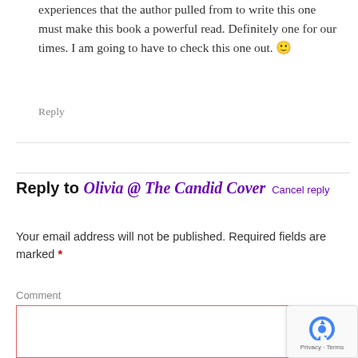experiences that the author pulled from to write this one must make this book a powerful read. Definitely one for our times. I am going to have to check this one out. 🙂
Reply
Reply to Olivia @ The Candid Cover Cancel reply
Your email address will not be published. Required fields are marked *
Comment